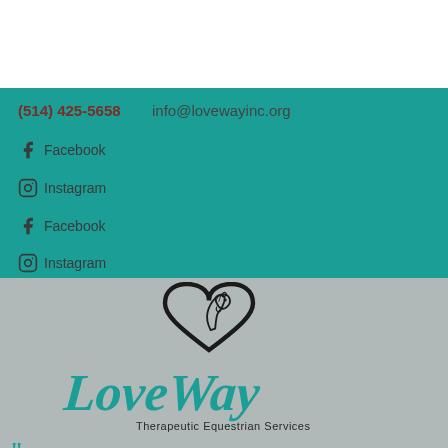(514) 425-5658 info@lovewayinc.org
f Facebook
Instagram
f Facebook
Instagram
[Figure (logo): LoveWay Therapeutic Equestrian Services logo — a horse head inside a heart shape outline, with 'LoveWay' in teal cursive script and 'Therapeutic Equestrian Services' in dark text below]